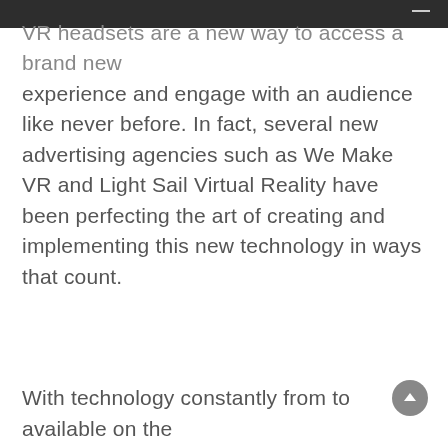VR headsets are a new way to access a brand new experience and engage with an audience like never before. In fact, several new advertising agencies such as We Make VR and Light Sail Virtual Reality have been perfecting the art of creating and implementing this new technology in ways that count.
With technology constantly from to available on the